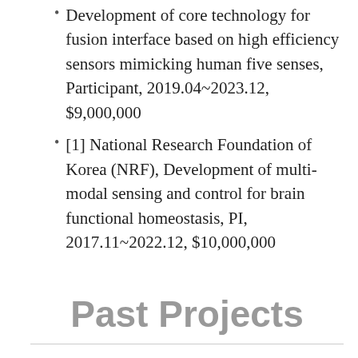Development of core technology for fusion interface based on high efficiency sensors mimicking human five senses, Participant, 2019.04~2023.12, $9,000,000
[1] National Research Foundation of Korea (NRF), Development of multi-modal sensing and control for brain functional homeostasis, PI, 2017.11~2022.12, $10,000,000
Past Projects
[19] Ministry of Science, ICT & Future Planning, Resilient Cyber-Physical Systems Research, Participant, 2014.04~2022.02, $10,000,000